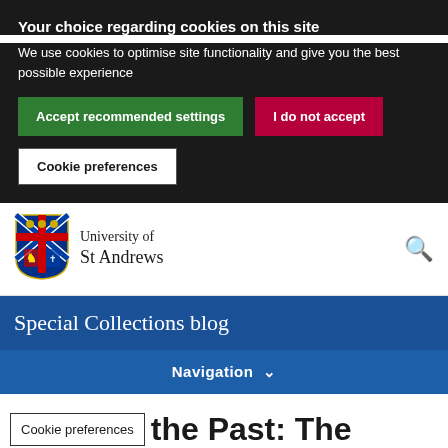Your choice regarding cookies on this site
We use cookies to optimise site functionality and give you the best possible experience
Accept recommended settings
I do not accept
Cookie preferences
[Figure (logo): University of St Andrews crest/shield logo]
University of St Andrews
🔍
Special Collections blog
Navigation ∨
Cookie preferences
the Past: The